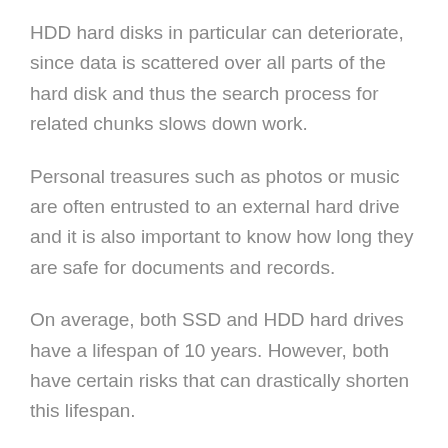HDD hard disks in particular can deteriorate, since data is scattered over all parts of the hard disk and thus the search process for related chunks slows down work.
Personal treasures such as photos or music are often entrusted to an external hard drive and it is also important to know how long they are safe for documents and records.
On average, both SSD and HDD hard drives have a lifespan of 10 years. However, both have certain risks that can drastically shorten this lifespan.
This is where the characteristics of the structure of the two types come into play again: HDD hard drives